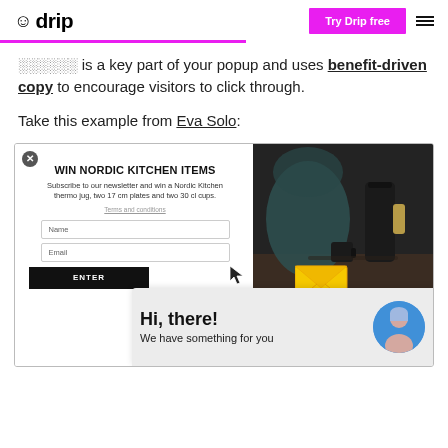drip  |  Try Drip free  |  ≡
is a key part of your popup and uses benefit-driven copy to encourage visitors to click through.
Take this example from Eva Solo:
[Figure (screenshot): Screenshot of an Eva Solo popup with 'WIN NORDIC KITCHEN ITEMS' headline, newsletter subscription form with Name and Email fields, ENTER button, a product photo of Nordic kitchen items, and a chat notification overlay saying 'Hi, there! We have something for you' with an email envelope icon and avatar.]